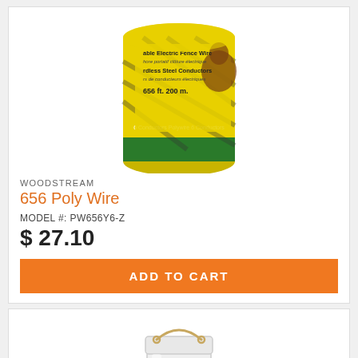[Figure (photo): Product photo of Woodstream 656 Poly Wire electric fence wire spool with yellow and green label showing a horse, 656 ft. 200 m., 6 Conductors Polywire]
WOODSTREAM
656 Poly Wire
MODEL #: PW656Y6-Z
$ 27.10
ADD TO CART
[Figure (photo): Product photo of a white ceramic jar or canister with a metal bail wire handle]